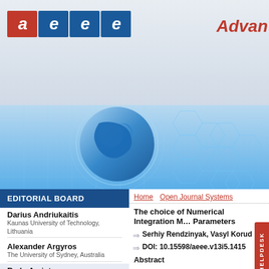[Figure (logo): AEEE organization logo with red and blue letter boxes spelling 'aeee']
Advan
[Figure (illustration): Blue banner with globe/earth illustration and hexagon network pattern on blue background]
EDITORIAL BOARD
Darius Andriukaitis
Kaunas University of Technology, Lithuania
Alexander Argyros
The University of Sydney, Australia
Radu Arsinte
Technical University of Cluj Napoca, Romania
Ivan Baronak
Slovak University of Technology, Slovakia
Khosrow Behbehani
Home   Open Journal Systems
The choice of Numerical Integration M... Parameters
Serhiy Rendzinyak, Vasyl Korud
DOI: 10.15598/aeee.v13i5.1415
Abstract